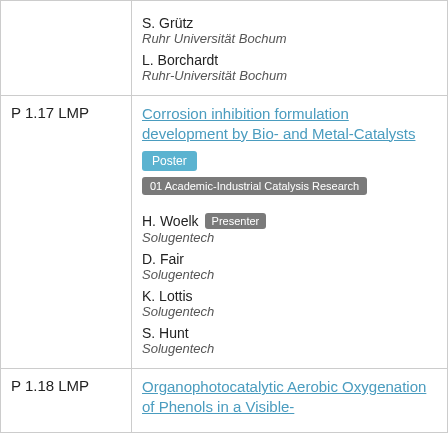| ID | Content |
| --- | --- |
|  | S. Grutz
Ruhr Universität Bochum
L. Borchardt
Ruhr-Universität Bochum |
| P 1.17 LMP | Corrosion inhibition formulation development by Bio- and Metal-Catalysts
[Poster] [01 Academic-Industrial Catalysis Research]
H. Woelk [Presenter]
Solugentech
D. Fair
Solugentech
K. Lottis
Solugentech
S. Hunt
Solugentech |
| P 1.18 LMP | Organophotocatalytic Aerobic Oxygenation of Phenols in a Visible-... |